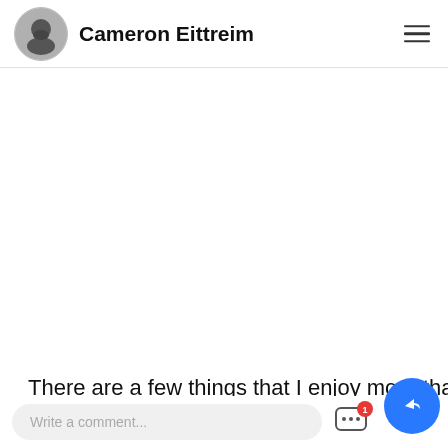Cameron Eittreim
[Figure (photo): Blank white content area representing an article image placeholder]
There are a few things that I enjoy more than a great bowl of soup. Sure, you have your more
Write a comment...